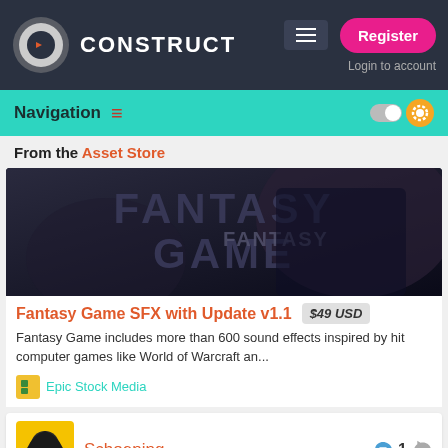CONSTRUCT — Register / Login to account
Navigation
From the Asset Store
[Figure (photo): Dark banner image showing 'FANTASY GAME' text in large letters with game-related imagery]
Fantasy Game SFX with Update v1.1   $49 USD
Fantasy Game includes more than 600 sound effects inspired by hit computer games like World of Warcraft an...
Epic Stock Media
Schoening   👍 1 👎
[Figure (screenshot): User avatar for Schoening — colorful illustration of a character with skateboard on red/yellow background]
Joannesalfa   Skybox should be very easy. In Three.js you just create a basic box and flip the material inside. If the plugin has flip materials